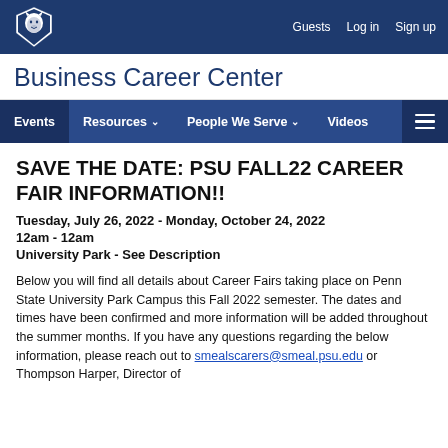Guests  Log in  Sign up
Business Career Center
Events  Resources  People We Serve  Videos
SAVE THE DATE: PSU FALL22 CAREER FAIR INFORMATION!!
Tuesday, July 26, 2022 - Monday, October 24, 2022
12am - 12am
University Park - See Description
Below you will find all details about Career Fairs taking place on Penn State University Park Campus this Fall 2022 semester. The dates and times have been confirmed and more information will be added throughout the summer months. If you have any questions regarding the below information, please reach out to smealscarers@smeal.psu.edu or Thompson Harper, Director of